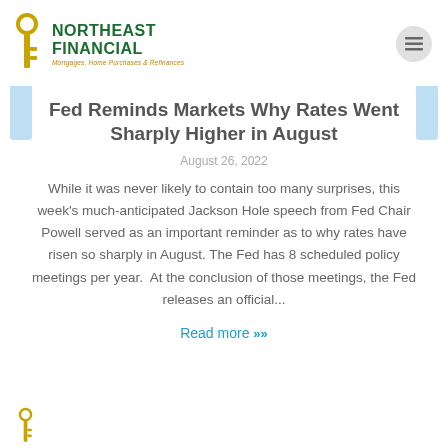[Figure (logo): Northeast Financial logo with key icon and text 'NORTHEAST FINANCIAL Mortgages, Home Purchases & Refinances']
Fed Reminds Markets Why Rates Went Sharply Higher in August
August 26, 2022
While it was never likely to contain too many surprises, this week's much-anticipated Jackson Hole speech from Fed Chair Powell served as an important reminder as to why rates have risen so sharply in August. The Fed has 8 scheduled policy meetings per year.  At the conclusion of those meetings, the Fed releases an official...
Read more »